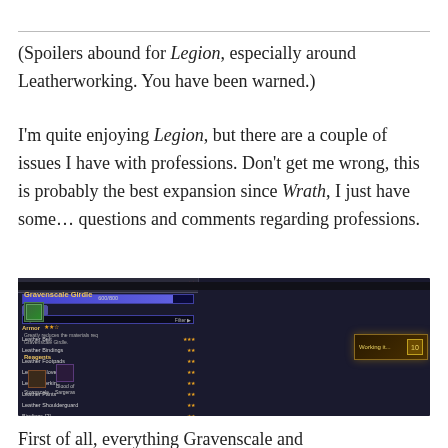(Spoilers abound for Legion, especially around Leatherworking. You have been warned.)
I'm quite enjoying Legion, but there are a couple of issues I have with professions. Don't get me wrong, this is probably the best expansion since Wrath, I just have some… questions and comments regarding professions.
[Figure (screenshot): Screenshot of the World of Warcraft Leatherworking profession UI showing the crafting menu at skill 600/800. The Gravenscale Girdle item is selected on the right panel with three-star rating, a description reading 'Greatly reduces the materials req for Gravenscale Girdle,' and reagents including Stormscale and Blood of Sargeras. A 'Working it' or similar crafting overlay button appears in the lower right. The left panel shows a list of Leatherworking items including Armor section with various Leather pieces.]
First of all, everything Gravenscale and